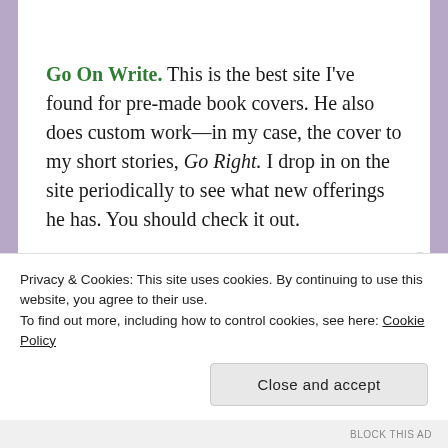Go On Write. This is the best site I've found for pre-made book covers. He also does custom work—in my case, the cover to my short stories, Go Right. I drop in on the site periodically to see what new offerings he has. You should check it out.
Dominic Noble on YouTube. He's a young Brit in California whose channel compares books-vs-movies. I found him a couple of years ago when he
Privacy & Cookies: This site uses cookies. By continuing to use this website, you agree to their use.
To find out more, including how to control cookies, see here: Cookie Policy
Close and accept